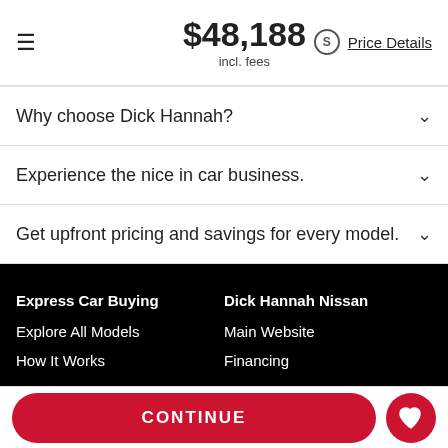$48,188 incl. fees  Price Details
Why choose Dick Hannah?
Experience the nice in car business.
Get upfront pricing and savings for every model.
Express Car Buying
Explore All Models
How It Works
Dick Hannah Nissan
Main Website
Financing
CONTINUE